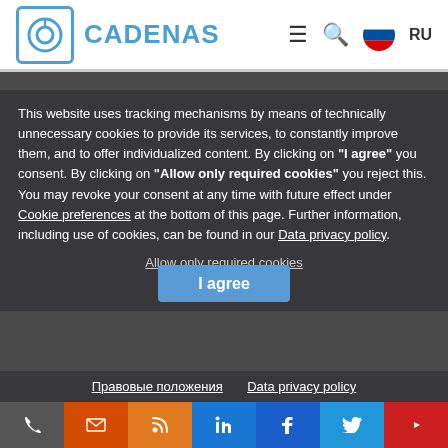[Figure (logo): CADENAS logo with blue circle icon and teal brand name text]
This website uses tracking mechanisms by means of technically unnecessary cookies to provide its services, to constantly improve them, and to offer individualized content. By clicking on "I agree" you consent. By clicking on "Allow only required cookies" you reject this. You may revoke your consent at any time with future effect under Cookie preferences at the bottom of this page. Further information, including use of cookies, can be found in our Data privacy policy.
Allow only required cookies
I agree
Правовые положения   Data privacy policy
[Figure (infographic): Social media icon bar with phone, email, RSS, LinkedIn, Facebook, Twitter, YouTube icons]